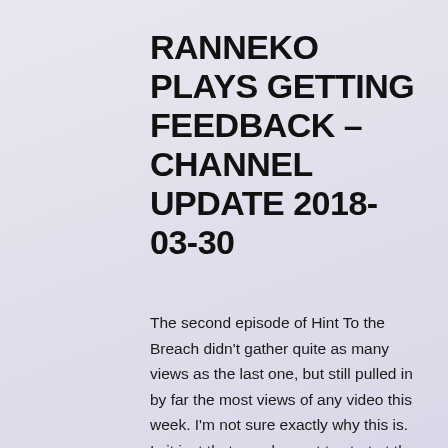RANNEKO PLAYS GETTING FEEDBACK – CHANNEL UPDATE 2018-03-30
The second episode of Hint To the Breach didn't gather quite as many views as the last one, but still pulled in by far the most views of any video this week. I'm not sure exactly why this is. Is it just that people want to start at the beginning? Into the Breach is just that much older? More people have already dismissed the series based on the first one?
Even so, this marks the first time I have received feedback on the tip itself that wasn't either